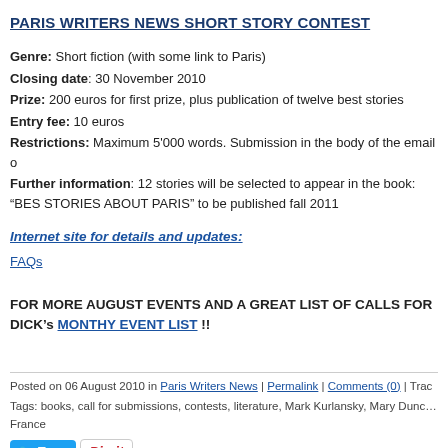PARIS WRITERS NEWS SHORT STORY CONTEST
Genre: Short fiction (with some link to Paris)
Closing date: 30 November 2010
Prize: 200 euros for first prize, plus publication of twelve best stories
Entry fee: 10 euros
Restrictions: Maximum 5'000 words. Submission in the body of the email o...
Further information: 12 stories will be selected to appear in the book: "BEST STORIES ABOUT PARIS" to be published fall 2011
Internet site for details and updates:
FAQs
FOR MORE AUGUST EVENTS AND A GREAT LIST OF CALLS FOR... DICK's MONTHY EVENT LIST !!
Posted on 06 August 2010 in Paris Writers News | Permalink | Comments (0) | Trac...
Tags: books, call for submissions, contests, literature, Mark Kurlansky, Mary Dunc... France
03 August 2010